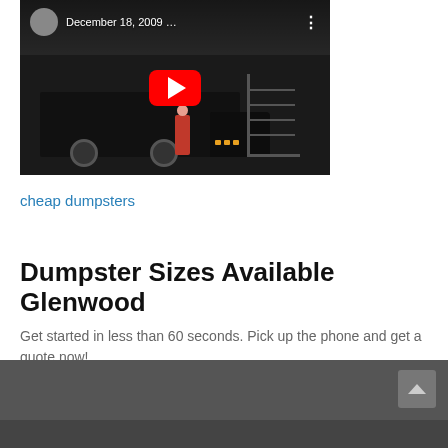[Figure (screenshot): YouTube video thumbnail showing a garbage truck at night with a person in red clothing, dated December 18, 2009. Shows YouTube play button overlay.]
cheap dumpsters
Dumpster Sizes Available Glenwood
Get started in less than 60 seconds. Pick up the phone and get a quote now!
[Figure (screenshot): Dark grey website footer bar with a scroll-to-top arrow button on the right side.]